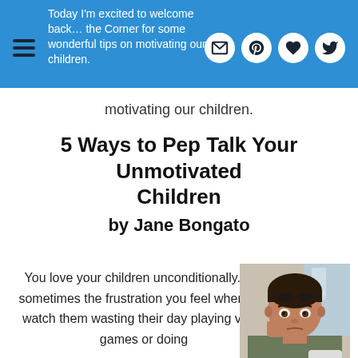Today I'm excited to welcome back… the Corner for some wonderful tips on motivating our children.
5 Ways to Pep Talk Your Unmotivated Children by Jane Bongato
You love your children unconditionally. But sometimes the frustration you feel when you watch them wasting their day playing video games or doing
[Figure (photo): A young boy with dark hair resting his chin on his hand, looking bored or unmotivated]
Photo from